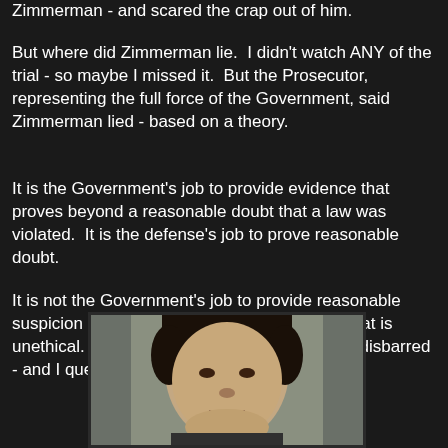Zimmerman - and scared the crap out of him.
But where did Zimmerman lie.  I didn't watch ANY of the trial - so maybe I missed it.  But the Prosecutor, representing the full force of the Government, said Zimmerman lied - based on a theory.
It is the Government's job to provide evidence that proves beyond a reasonable doubt that a law was violated.  It is the defense's job to prove reasonable doubt.
It is not the Government's job to provide reasonable suspicion based on a theory.  In my opinion, that is unethical. The Prosecutor should be fired and disbarred - and I question the suitability of the judge.
[Figure (photo): Mugshot-style photograph of a man with dark hair against a gray background]